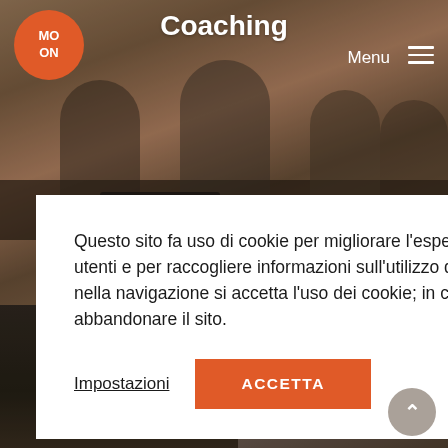[Figure (photo): Website screenshot showing a coaching website with a meeting/group photo header, a logo (MOON), and a navigation menu. Background shows people at a meeting table.]
Coaching
Menu
Questo sito fa uso di cookie per migliorare l’esperienza di navigazione degli utenti e per raccogliere informazioni sull’utilizzo del sito stesso. Proseguendo nella navigazione si accetta l’uso dei cookie; in caso contrario è possibile abbandonare il sito.
Impostazioni
ACCETTA
Courses